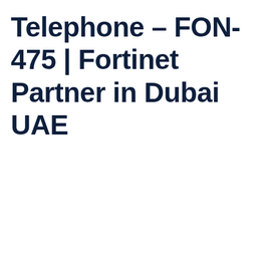Telephone – FON-475 | Fortinet Partner in Dubai UAE